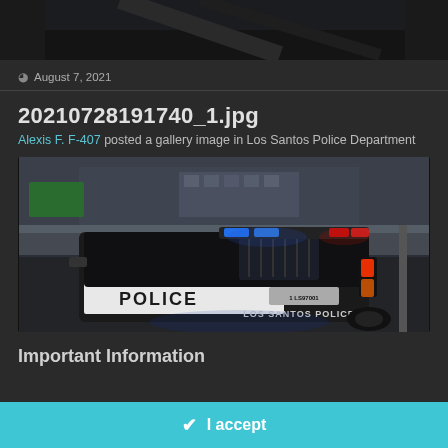[Figure (screenshot): Dark top image strip showing a partial screenshot (dark road/sky scene, partially visible)]
August 7, 2021
20210728191740_1.jpg
Alexis F. F-407 posted a gallery image in Los Santos Police Department
[Figure (photo): GTA-style police SUV (Los Santos Police) seen from rear-left angle on a road, with blue/red light bar active, 'POLICE' text on side and 'LOS SANTOS POLICE' on rear, license plate visible, urban overpass background]
Important Information
I accept